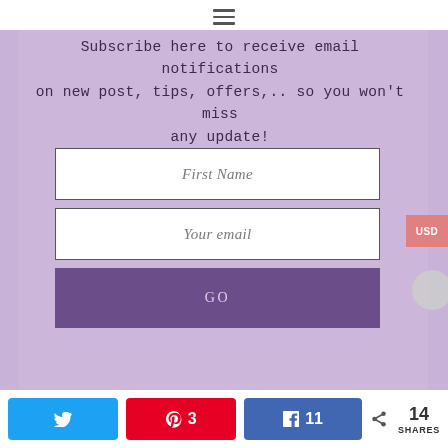≡
Subscribe here to receive email notifications on new post, tips, offers,.. so you won't miss any update!
First Name
Your email
GO
USD
Twitter share | Pinterest 3 | Facebook share 11 | < 14 SHARES